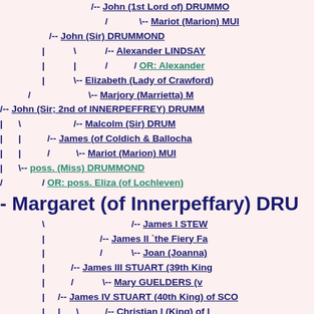[Figure (other): Genealogical family tree showing ancestry and descendants of Margaret (of Innerpeffary) DRUMMOND. Names shown with connector lines indicating parent-child relationships. Names in dark navy blue are hyperlinked; names in teal/green are alternate person links.]